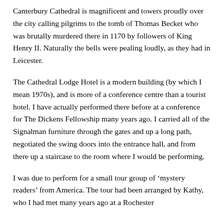Canterbury Cathedral is magnificent and towers proudly over the city calling pilgrims to the tomb of Thomas Becket who was brutally murdered there in 1170 by followers of King Henry II. Naturally the bells were pealing loudly, as they had in Leicester.
The Cathedral Lodge Hotel is a modern building (by which I mean 1970s), and is more of a conference centre than a tourist hotel. I have actually performed there before at a conference for The Dickens Fellowship many years ago. I carried all of the Signalman furniture through the gates and up a long path, negotiated the swing doors into the entrance hall, and from there up a staircase to the room where I would be performing.
I was due to perform for a small tour group of ‘mystery readers’ from America. The tour had been arranged by Kathy, who I had met many years ago at a Rochester